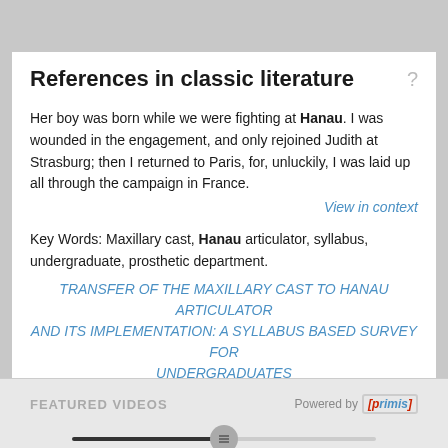References in classic literature
Her boy was born while we were fighting at Hanau. I was wounded in the engagement, and only rejoined Judith at Strasburg; then I returned to Paris, for, unluckily, I was laid up all through the campaign in France.
View in context
Key Words: Maxillary cast, Hanau articulator, syllabus, undergraduate, prosthetic department.
TRANSFER OF THE MAXILLARY CAST TO HANAU ARTICULATOR AND ITS IMPLEMENTATION: A SYLLABUS BASED SURVEY FOR UNDERGRADUATES
Christmas cheer and an unforgettable experience are guaranteed whether in the bigger cities such as Frankfurt, Wiesbaden, Aschaffenburg
FEATURED VIDEOS   Powered by [primis]